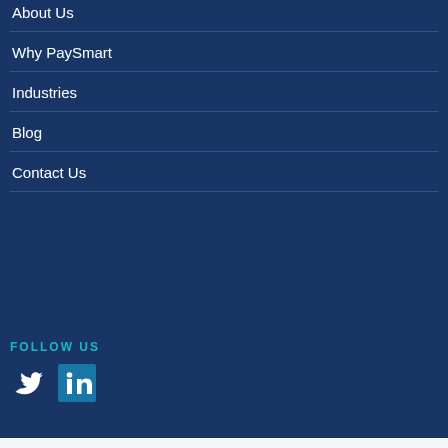About Us
Why PaySmart
Industries
Blog
Contact Us
FOLLOW US
[Figure (illustration): Twitter bird icon and LinkedIn 'in' icon as social media links]
Copyright © 2022 PaySmart | Privacy Statement | PDS | Terms | Privacy | Cookies Website by icreate.agency